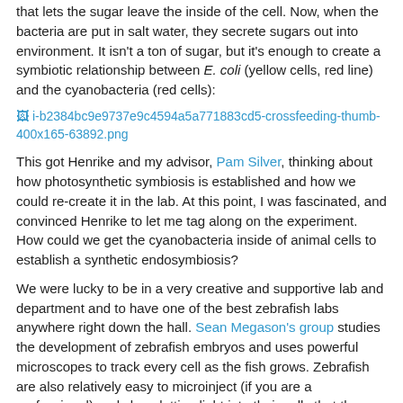that lets the sugar leave the inside of the cell. Now, when the bacteria are put in salt water, they secrete sugars out into environment. It isn't a ton of sugar, but it's enough to create a symbiotic relationship between E. coli (yellow cells, red line) and the cyanobacteria (red cells):
[Figure (other): A broken image link placeholder: i-b2384bc9e9737e9c4594a5a771883cd5-crossfeeding-thumb-400x165-63892.png]
This got Henrike and my advisor, Pam Silver, thinking about how photosynthetic symbiosis is established and how we could re-create it in the lab. At this point, I was fascinated, and convinced Henrike to let me tag along on the experiment. How could we get the cyanobacteria inside of animal cells to establish a synthetic endosymbiosis?
We were lucky to be in a very creative and supportive lab and department and to have one of the best zebrafish labs anywhere right down the hall. Sean Megason's group studies the development of zebrafish embryos and uses powerful microscopes to track every cell as the fish grows. Zebrafish are also relatively easy to microinject (if you are a professional) and clear, letting light into their cells that the cyanobacteria would need to grow. Henrike hooked Ramil Noche, a postdoc in the